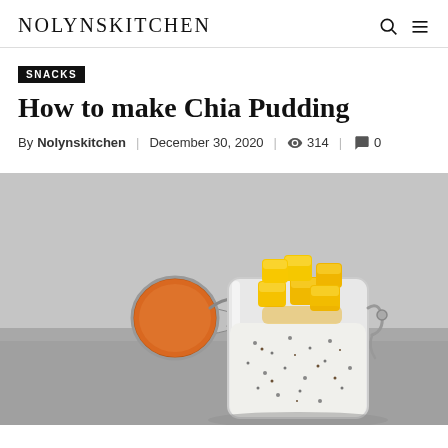NOLYNSKITCHEN
SNACKS
How to make Chia Pudding
By Nolynskitchen | December 30, 2020 | 314 | 0
[Figure (photo): A glass jar with an orange rubber-sealed clip lid, open to the side, filled with white chia pudding topped with bright yellow mango cubes, on a gray surface.]